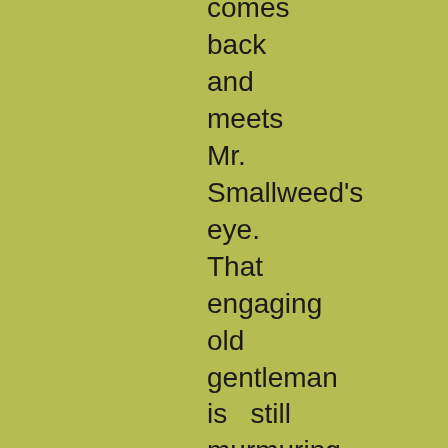comes back and meets Mr. Smallweed's eye. That engaging old gentleman is  still murmuring, like some wound-up instrument running